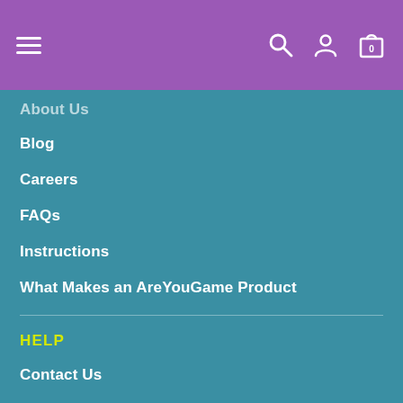Navigation header with hamburger menu, search, account, and cart icons
About Us (partial, clipped)
Blog
Careers
FAQs
Instructions
What Makes an AreYouGame Product
HELP
Contact Us
Privacy Policy
Returns
Terms & Conditions